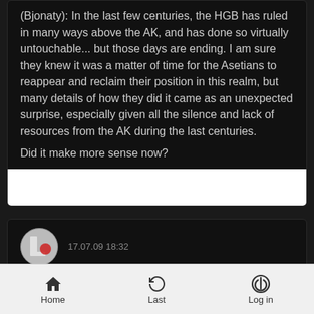(Bjonaty): In the last few centuries, the HGB has ruled in many ways above the AK, and has done so virtually untouchable... but those days are ending. I am sure they knew it was a matter of time for the Asetians to reappear and reclaim their position in this realm, but many details of how they did it came as an unexpected surprise, especially given all the silence and lack of resources from the AK during the last centuries.
Did it make more sense now?
17.07.09 18:32
by Maxx
Most certainly......being caught off guard...... threw me for a loop and would mean that you would be in the middle of it to experience or recognize that emotion. Thank you for clearing
Home  Last  Log in